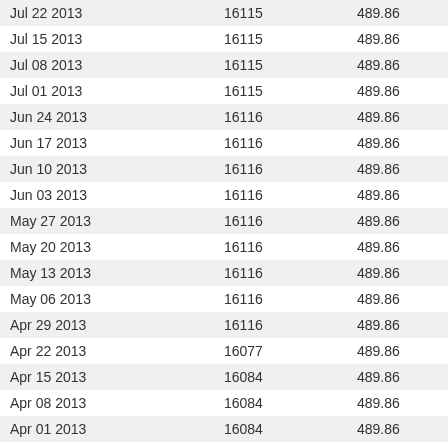| Jul 22 2013 | 16115 | 489.86 |
| Jul 15 2013 | 16115 | 489.86 |
| Jul 08 2013 | 16115 | 489.86 |
| Jul 01 2013 | 16115 | 489.86 |
| Jun 24 2013 | 16116 | 489.86 |
| Jun 17 2013 | 16116 | 489.86 |
| Jun 10 2013 | 16116 | 489.86 |
| Jun 03 2013 | 16116 | 489.86 |
| May 27 2013 | 16116 | 489.86 |
| May 20 2013 | 16116 | 489.86 |
| May 13 2013 | 16116 | 489.86 |
| May 06 2013 | 16116 | 489.86 |
| Apr 29 2013 | 16116 | 489.86 |
| Apr 22 2013 | 16077 | 489.86 |
| Apr 15 2013 | 16084 | 489.86 |
| Apr 08 2013 | 16084 | 489.86 |
| Apr 01 2013 | 16084 | 489.86 |
| Mar 25 2013 | 16078 | 489.86 |